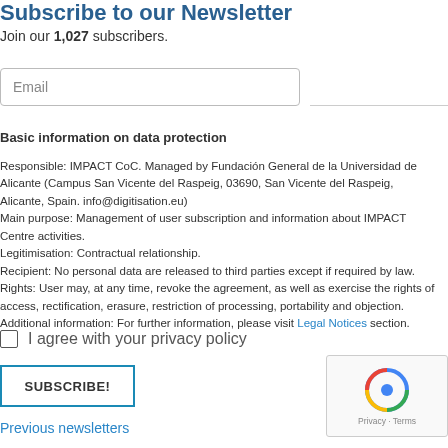Subscribe to our Newsletter
Join our 1,027 subscribers.
Email
Basic information on data protection
Responsible: IMPACT CoC. Managed by Fundación General de la Universidad de Alicante (Campus San Vicente del Raspeig, 03690, San Vicente del Raspeig, Alicante, Spain. info@digitisation.eu)
Main purpose: Management of user subscription and information about IMPACT Centre activities.
Legitimisation: Contractual relationship.
Recipient: No personal data are released to third parties except if required by law.
Rights: User may, at any time, revoke the agreement, as well as exercise the rights of access, rectification, erasure, restriction of processing, portability and objection.
Additional information: For further information, please visit Legal Notices section.
I agree with your privacy policy
SUBSCRIBE!
Previous newsletters